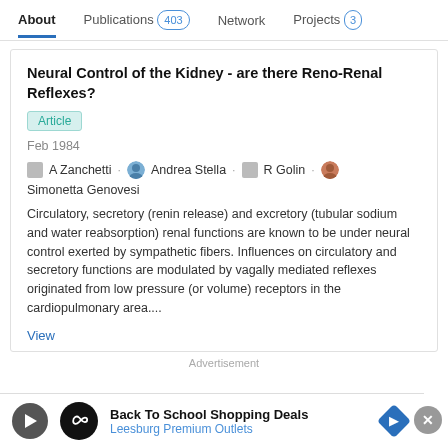About   Publications 403   Network   Projects 3
Neural Control of the Kidney - are there Reno-Renal Reflexes?
Article
Feb 1984
A Zanchetti · Andrea Stella · R Golin · Simonetta Genovesi
Circulatory, secretory (renin release) and excretory (tubular sodium and water reabsorption) renal functions are known to be under neural control exerted by sympathetic fibers. Influences on circulatory and secretory functions are modulated by vagally mediated reflexes originated from low pressure (or volume) receptors in the cardiopulmonary area....
View
Advertisement
Back To School Shopping Deals
Leesburg Premium Outlets